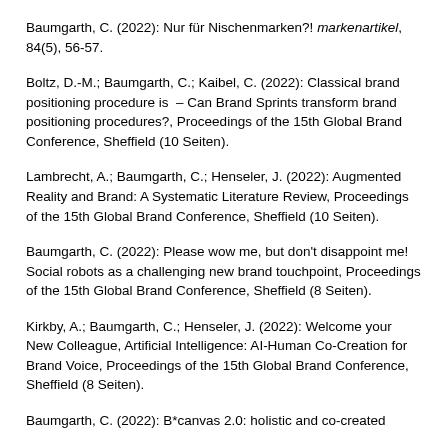Baumgarth, C. (2022): Nur für Nischenmarken?! markenartikel, 84(5), 56-57.
Boltz, D.-M.; Baumgarth, C.; Kaibel, C. (2022): Classical brand positioning procedure is – Can Brand Sprints transform brand positioning procedures?, Proceedings of the 15th Global Brand Conference, Sheffield (10 Seiten).
Lambrecht, A.; Baumgarth, C.; Henseler, J. (2022): Augmented Reality and Brand: A Systematic Literature Review, Proceedings of the 15th Global Brand Conference, Sheffield (10 Seiten).
Baumgarth, C. (2022): Please wow me, but don't disappoint me! Social robots as a challenging new brand touchpoint, Proceedings of the 15th Global Brand Conference, Sheffield (8 Seiten).
Kirkby, A.; Baumgarth, C.; Henseler, J. (2022): Welcome your New Colleague, Artificial Intelligence: AI-Human Co-Creation for Brand Voice, Proceedings of the 15th Global Brand Conference, Sheffield (8 Seiten).
Baumgarth, C. (2022): B*canvas 2.0: holistic and co-created